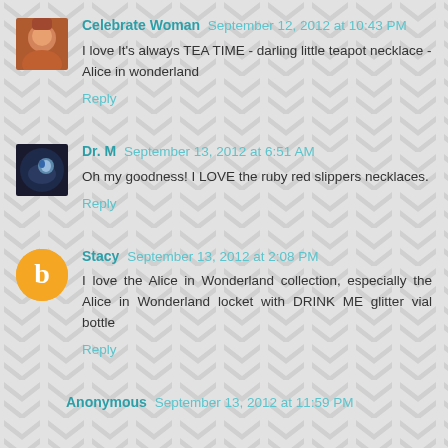Celebrate Woman September 12, 2012 at 10:43 PM
I love It's always TEA TIME - darling little teapot necklace - Alice in wonderland
Reply
Dr. M September 13, 2012 at 6:51 AM
Oh my goodness! I LOVE the ruby red slippers necklaces.
Reply
Stacy September 13, 2012 at 2:08 PM
I love the Alice in Wonderland collection, especially the Alice in Wonderland locket with DRINK ME glitter vial bottle
Reply
Anonymous September 13, 2012 at 11:59 PM